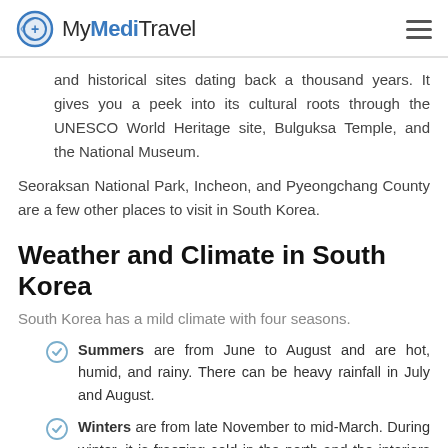MyMediTravel
and historical sites dating back a thousand years. It gives you a peek into its cultural roots through the UNESCO World Heritage site, Bulguksa Temple, and the National Museum.
Seoraksan National Park, Incheon, and Pyeongchang County are a few other places to visit in South Korea.
Weather and Climate in South Korea
South Korea has a mild climate with four seasons.
Summers are from June to August and are hot, humid, and rainy. There can be heavy rainfall in July and August.
Winters are from late November to mid-March. During winter, it is freezing cold in the north and the interiors and mild along the southern coasts and snowfalls are rare.
Spring is from mid-March to May. It is cold at the beginning of the season and gradually becomes milder. Rainfall becomes more frequent with the formation of